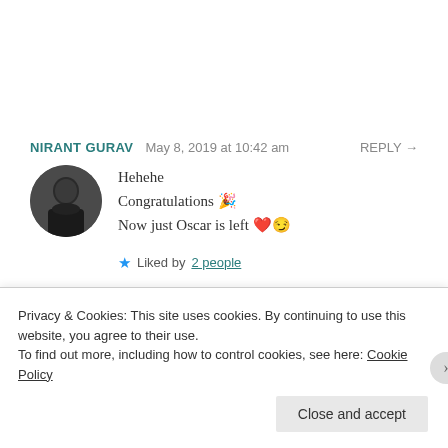NIRANT GURAV   May 8, 2019 at 10:42 am   REPLY →
[Figure (photo): Circular avatar photo of a person in dark clothing]
Hehehe
Congratulations 🎉
Now just Oscar is left ❤️😏
★ Liked by 2 people
MS. EAGER BEAVER   May 8, 2019 at 12:11 pm   REPLY →
Privacy & Cookies: This site uses cookies. By continuing to use this website, you agree to their use.
To find out more, including how to control cookies, see here: Cookie Policy
Close and accept